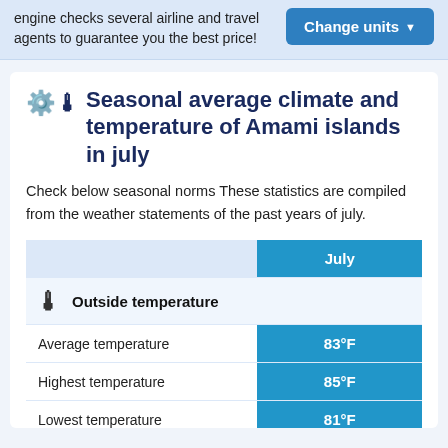engine checks several airline and travel agents to guarantee you the best price!
Seasonal average climate and temperature of Amami islands in july
Check below seasonal norms These statistics are compiled from the weather statements of the past years of july.
|  | July |
| --- | --- |
| Outside temperature |  |
| Average temperature | 83°F |
| Highest temperature | 85°F |
| Lowest temperature | 81°F |